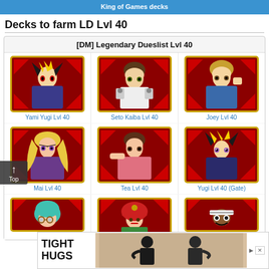King of Games decks
Decks to farm LD Lvl 40
[DM] Legendary Dueslist Lvl 40
[Figure (illustration): Yami Yugi Lvl 40 character card thumbnail - anime character with spiky hair on red background]
Yami Yugi Lvl 40
[Figure (illustration): Seto Kaiba Lvl 40 character card thumbnail - anime character on red background]
Seto Kaiba Lvl 40
[Figure (illustration): Joey Lvl 40 character card thumbnail - anime character with brown hair on red background]
Joey Lvl 40
[Figure (illustration): Mai Lvl 40 character card thumbnail - female anime character with blonde hair on red background]
Mai Lvl 40
[Figure (illustration): Tea Lvl 40 character card thumbnail - female anime character on red background]
Tea Lvl 40
[Figure (illustration): Yugi Lvl 40 (Gate) character card thumbnail - anime character on red background]
Yugi Lvl 40 (Gate)
[Figure (illustration): Partially visible character card thumbnail - anime character with teal hair]
W...
[Figure (illustration): Partially visible character card thumbnail - anime character with red hat]
[Figure (illustration): Partially visible character card thumbnail - ...0]
...0
[Figure (photo): Advertisement banner: TIGHT HUGS - people hugging photo]
Top